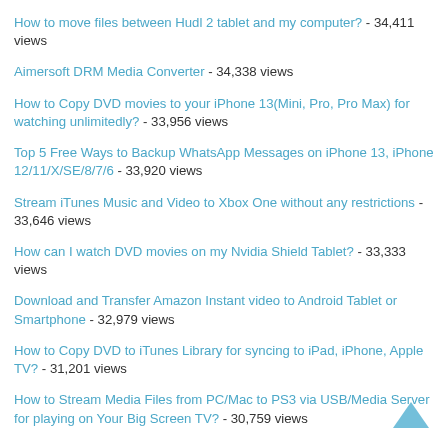How to move files between Hudl 2 tablet and my computer? - 34,411 views
Aimersoft DRM Media Converter - 34,338 views
How to Copy DVD movies to your iPhone 13(Mini, Pro, Pro Max) for watching unlimitedly? - 33,956 views
Top 5 Free Ways to Backup WhatsApp Messages on iPhone 13, iPhone 12/11/X/SE/8/7/6 - 33,920 views
Stream iTunes Music and Video to Xbox One without any restrictions - 33,646 views
How can I watch DVD movies on my Nvidia Shield Tablet? - 33,333 views
Download and Transfer Amazon Instant video to Android Tablet or Smartphone - 32,979 views
How to Copy DVD to iTunes Library for syncing to iPad, iPhone, Apple TV? - 31,201 views
How to Stream Media Files from PC/Mac to PS3 via USB/Media Server for playing on Your Big Screen TV? - 30,759 views